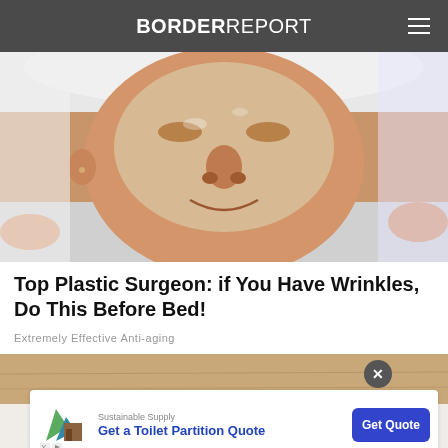BORDER REPORT
[Figure (photo): Close-up photo of a woman lying down receiving a facial treatment, with a white towel around her head and a clear gel/mask on her face, eyes closed, smiling]
Top Plastic Surgeon: if You Have Wrinkles, Do This Before Bed!
Extremely Effective Anti-aging
[Figure (photo): Partial photo of a second article/section below, showing a brown/tan background]
[Figure (screenshot): Advertisement banner: Sustainable Supply - Get a Toilet Partition Quote - Get Quote button, with a building materials logo on the left]